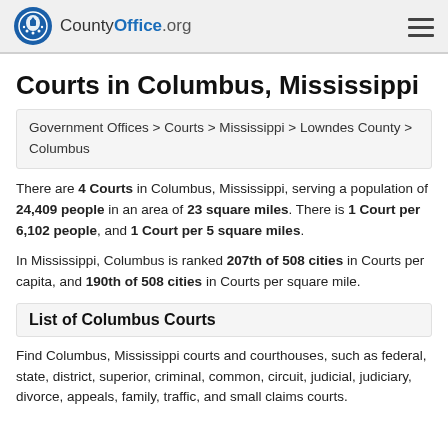CountyOffice.org
Courts in Columbus, Mississippi
Government Offices > Courts > Mississippi > Lowndes County > Columbus
There are 4 Courts in Columbus, Mississippi, serving a population of 24,409 people in an area of 23 square miles. There is 1 Court per 6,102 people, and 1 Court per 5 square miles.
In Mississippi, Columbus is ranked 207th of 508 cities in Courts per capita, and 190th of 508 cities in Courts per square mile.
List of Columbus Courts
Find Columbus, Mississippi courts and courthouses, such as federal, state, district, superior, criminal, common, circuit, judicial, judiciary, divorce, appeals, family, traffic, and small claims courts.